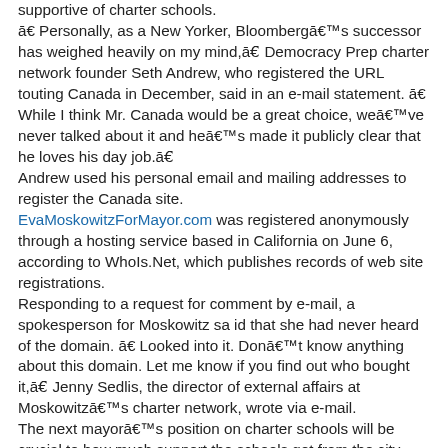supportive of charter schools. ā€ Personally, as a New Yorker, Bloombergā€™s successor has weighed heavily on my mind,ā€¯ Democracy Prep charter network founder Seth Andrew, who registered the URL touting Canada in December, said in an e-mail statement. ā€ While I think Mr. Canada would be a great choice, weā€™ve never talked about it and heā€™s made it publicly clear that he loves his day job.ā€¯ Andrew used his personal email and mailing addresses to register the Canada site. EvaMoskowitzForMayor.com was registered anonymously through a hosting service based in California on June 6, according to WhoIs.Net, which publishes records of web site registrations. Responding to a request for comment by e-mail, a spokesperson for Moskowitz sa id that she had never heard of the domain. ā€ Looked into it. Donā€™t know anything about this domain. Let me know if you find out who bought it,ā€¯ Jenny Sedlis, the director of external affairs at Moskowitzā€™s charter network, wrote via e-mail. The next mayorā€™s position on charter schools will be crucial to how much support the schools get from the city Department of Education. The charter schools need the